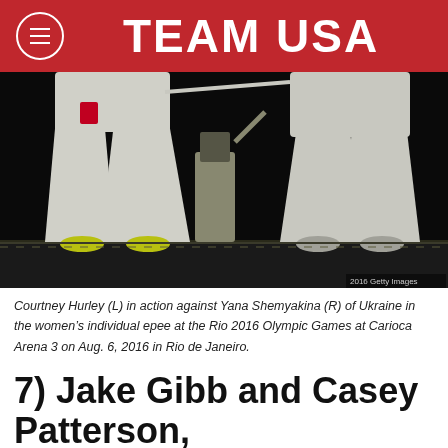TEAM USA
[Figure (photo): Two fencers in white uniforms competing on a fencing strip with dark background. Close-up of legs and torsos. One fencer on left wears yellow-green shoes. A third fencer visible in background.]
Courtney Hurley (L) in action against Yana Shemyakina (R) of Ukraine in the women's individual epee at the Rio 2016 Olympic Games at Carioca Arena 3 on Aug. 6, 2016 in Rio de Janeiro.
7) Jake Gibb and Casey Patterson,